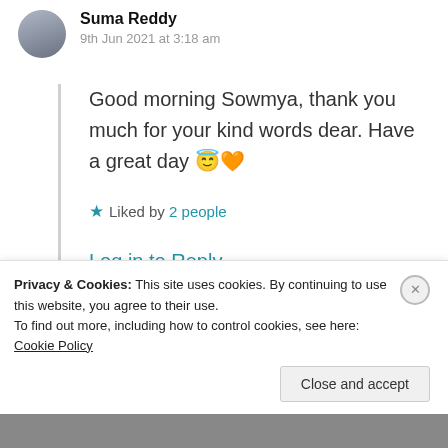Suma Reddy
9th Jun 2021 at 3:18 am
Good morning Sowmya, thank you much for your kind words dear. Have a great day 😇🧡
★ Liked by 2 people
Log in to Reply
Privacy & Cookies: This site uses cookies. By continuing to use this website, you agree to their use.
To find out more, including how to control cookies, see here: Cookie Policy
Close and accept